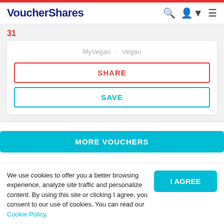VoucherShares
31
MyVegan · Vegan
SHARE
SAVE
MORE VOUCHERS
Botanycl discount codes, voucher codes and deals with Voucher Shares
We use cookies to offer you a better browsing experience, analyze site traffic and personalize content. By using this site or clicking I agree, you consent to our use of cookies. You can read our Cookie Policy.
I AGREE